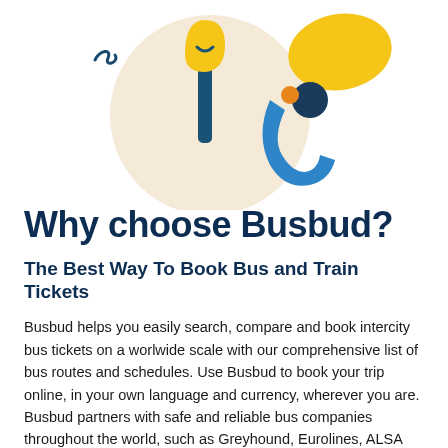[Figure (illustration): Colorful flat illustration showing a person with arms raised, a yellow lollipop/sign shape on a dark teal stick, yellow abstract shapes, a light beige large circle background, dark teal wavy line, orange dot, and blue arc – Busbud brand illustration]
Why choose Busbud?
The Best Way To Book Bus and Train Tickets
Busbud helps you easily search, compare and book intercity bus tickets on a worlwide scale with our comprehensive list of bus routes and schedules. Use Busbud to book your trip online, in your own language and currency, wherever you are. Busbud partners with safe and reliable bus companies throughout the world, such as Greyhound, Eurolines, ALSA